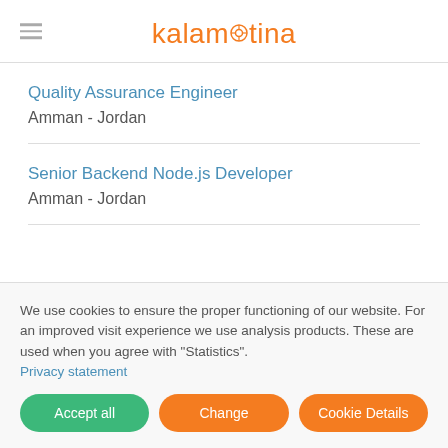kalamntina
Quality Assurance Engineer
Amman - Jordan
Senior Backend Node.js Developer
Amman - Jordan
We use cookies to ensure the proper functioning of our website. For an improved visit experience we use analysis products. These are used when you agree with "Statistics".
Privacy statement
Accept all | Change | Cookie Details